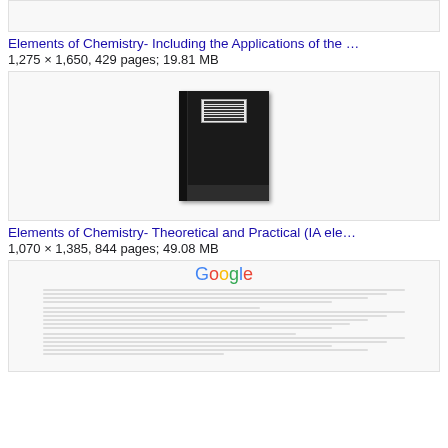[Figure (screenshot): Partial top image box (cropped from above)]
Elements of Chemistry- Including the Applications of the …
1,275 × 1,650, 429 pages; 19.81 MB
[Figure (photo): Dark book cover with barcode label visible on top, spine on left, fingers visible at bottom]
Elements of Chemistry- Theoretical and Practical (IA ele…
1,070 × 1,385, 844 pages; 49.08 MB
[Figure (screenshot): Screenshot of a Google search results page showing text content]